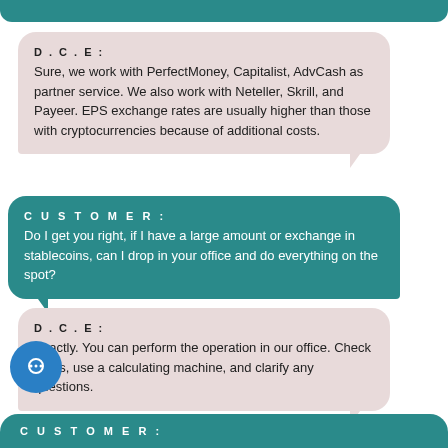D.C.E: Sure, we work with PerfectMoney, Capitalist, AdvCash as partner service. We also work with Neteller, Skrill, and Payeer. EPS exchange rates are usually higher than those with cryptocurrencies because of additional costs.
CUSTOMER: Do I get you right, if I have a large amount or exchange in stablecoins, can I drop in your office and do everything on the spot?
D.C.E: Exactly. You can perform the operation in our office. Check funds, use a calculating machine, and clarify any questions.
CUSTOMER: